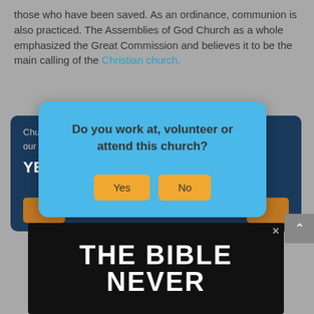those who have been saved. As an ordinance, communion is also practiced. The Assemblies of God Church as a whole emphasized the Great Commission and believes it to be the main calling of the Christian church.
[Figure (screenshot): Dark blue church information card with text 'Churc... to our co...' and bold 'YES' text, with orange buttons on left and right sides.]
[Figure (screenshot): Light blue modal dialog box asking 'Do you work at, volunteer or attend this church?' with Yes and No buttons in orange/yellow.]
[Figure (screenshot): Advertisement banner with dark background showing text 'THE BIBLE NEVER' in large white bold letters. Has an X close button.]